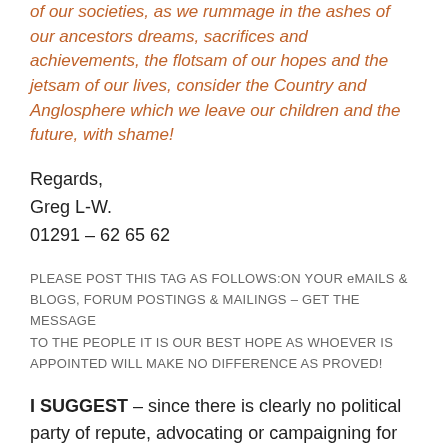of our societies, as we rummage in the ashes of our ancestors dreams, sacrifices and achievements, the flotsam of our hopes and the jetsam of our lives, consider the Country and Anglosphere which we leave our children and the future, with shame!
Regards,
Greg L-W.
01291 – 62 65 62
PLEASE POST THIS TAG AS FOLLOWS:ON YOUR eMAILS & BLOGS, FORUM POSTINGS & MAILINGS – GET THE MESSAGE TO THE PEOPLE IT IS OUR BEST HOPE AS WHOEVER IS APPOINTED WILL MAKE NO DIFFERENCE AS PROVED!
I SUGGEST – since there is clearly no political party of repute, advocating or campaigning for withdrawal of these United Kingdoms from the EU and restoration of our